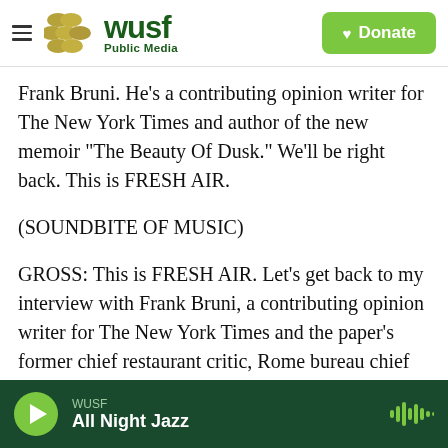WUSF Public Media — Donate
Frank Bruni. He's a contributing opinion writer for The New York Times and author of the new memoir "The Beauty Of Dusk." We'll be right back. This is FRESH AIR.
(SOUNDBITE OF MUSIC)
GROSS: This is FRESH AIR. Let's get back to my interview with Frank Bruni, a contributing opinion writer for The New York Times and the paper's former chief restaurant critic, Rome bureau chief and White House correspondent. His new memoir, "The Beauty Of Dusk," is about how his life changed
WUSF
All Night Jazz